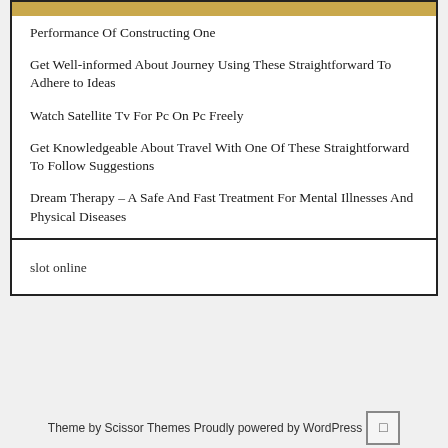Performance Of Constructing One
Get Well-informed About Journey Using These Straightforward To Adhere to Ideas
Watch Satellite Tv For Pc On Pc Freely
Get Knowledgeable About Travel With One Of These Straightforward To Follow Suggestions
Dream Therapy – A Safe And Fast Treatment For Mental Illnesses And Physical Diseases
slot online
Theme by Scissor Themes Proudly powered by WordPress